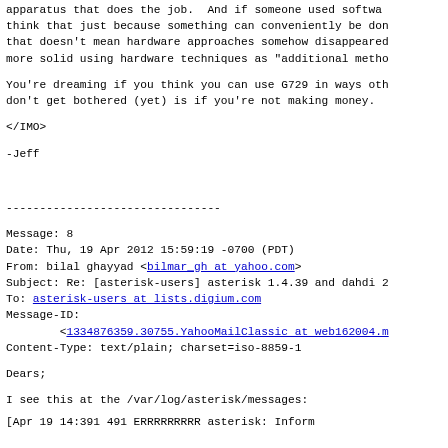apparatus that does the job.  And if someone used softwa think that just because something can conveniently be don that doesn't mean hardware approaches somehow disappeared more solid using hardware techniques as "additional metho
You're dreaming if you think you can use G729 in ways oth don't get bothered (yet) is if you're not making money.
</IMO>
-Jeff
--------------------------------
Message: 8
Date: Thu, 19 Apr 2012 15:59:19 -0700 (PDT)
From: bilal ghayyad <bilmar_gh at yahoo.com>
Subject: Re: [asterisk-users] asterisk 1.4.39 and dahdi 2
To: asterisk-users at lists.digium.com
Message-ID:
        <1334876359.30755.YahooMailClassic at web162004.m
Content-Type: text/plain; charset=iso-8859-1
Dears;
I see this at the /var/log/asterisk/messages:
[partial line truncated]